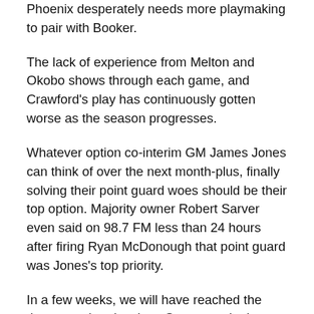Phoenix desperately needs more playmaking to pair with Booker.
The lack of experience from Melton and Okobo shows through each game, and Crawford's play has continuously gotten worse as the season progresses.
Whatever option co-interim GM James Jones can think of over the next month-plus, finally solving their point guard woes should be their top option. Majority owner Robert Sarver even said on 98.7 FM less than 24 hours after firing Ryan McDonough that point guard was Jones's top priority.
In a few weeks, we will have reached the three month point since Sarver made those comments. It's time for action from the Suns' front office to help ease the burden on Booker in another lost season that won't